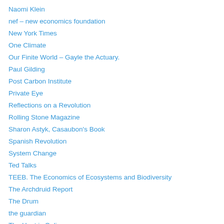Naomi Klein
nef – new economics foundation
New York Times
One Climate
Our Finite World – Gayle the Actuary.
Paul Gilding
Post Carbon Institute
Private Eye
Reflections on a Revolution
Rolling Stone Magazine
Sharon Astyk, Casaubon's Book
Spanish Revolution
System Change
Ted Talks
TEEB. The Economics of Ecosystems and Biodiversity
The Archdruid Report
The Drum
the guardian
The Heat is Online
The Nation